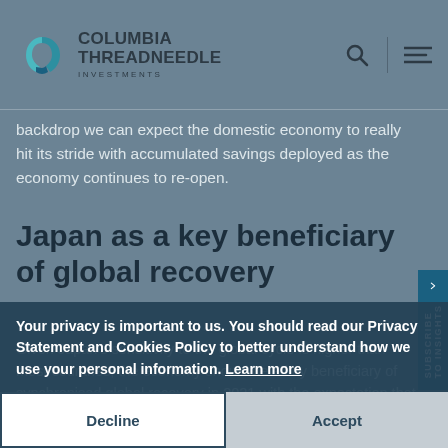[Figure (logo): Columbia Threadneedle Investments logo with teal circular arrow icon and company name]
backdrop we can expect the domestic economy to really hit its stride with accumulated savings deployed as the economy continues to re-open.
Japan as a key beneficiary of global recovery
Given Japan's sensitivity to the global cycle is higher than most countries, the economy should be a key beneficiary of synchronised global recovery in 2021 with the expectation that domestic corporate earnings growth will rebound. More than 50% of the MSCI Japan Index falls under three sectors: industrials, information technology, and automotive-heavy consumer discretionary. This implies that the composition of the index helps investors enjoy superior returns when global growth starts to
Your privacy is important to us. You should read our Privacy Statement and Cookies Policy to better understand how we use your personal information. Learn more